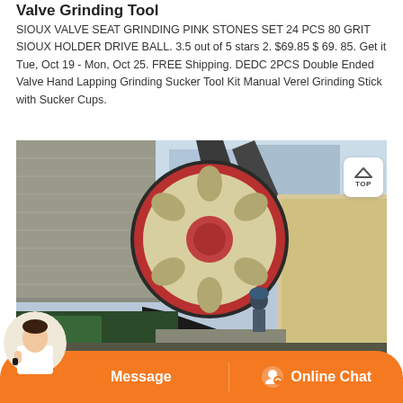Valve Grinding Tool
SIOUX VALVE SEAT GRINDING PINK STONES SET 24 PCS 80 GRIT SIOUX HOLDER DRIVE BALL. 3.5 out of 5 stars 2. $69.85 $ 69. 85. Get it Tue, Oct 19 - Mon, Oct 25. FREE Shipping. DEDC 2PCS Double Ended Valve Hand Lapping Grinding Sucker Tool Kit Manual Verel Grinding Stick with Sucker Cups.
[Figure (photo): Industrial jaw crusher or grinding machine with a large flywheel featuring a red rim and circular holes, mounted outdoors against a stone/concrete building. A worker in a hard hat is visible in the background near the base of the machine.]